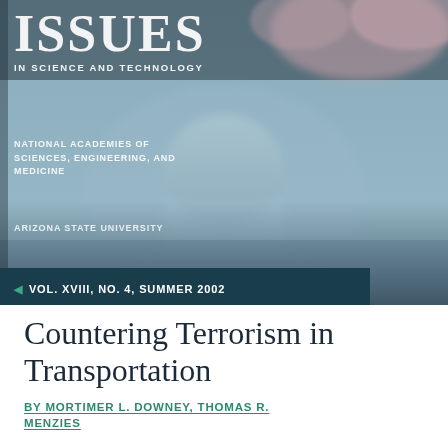[Figure (photo): Magazine cover background showing a blurred dome building (likely Jefferson Memorial) with cherry blossom trees, bluish-gray sky, reflected in water]
ISSUES IN SCIENCE AND TECHNOLOGY
NATIONAL ACADEMIES OF SCIENCES, ENGINEERING, AND MEDICINE
ARIZONA STATE UNIVERSITY
◄ VOL. XVIII, NO. 4, SUMMER 2002
Countering Terrorism in Transportation
BY MORTIMER L. DOWNEY, THOMAS R. MENZIES